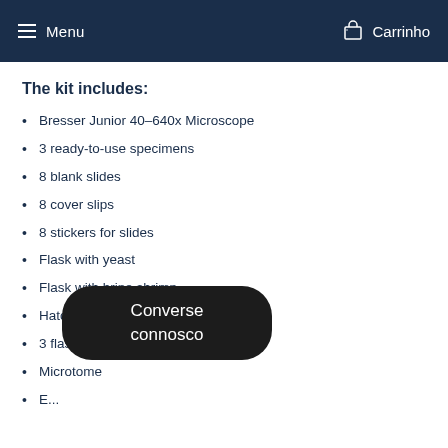Menu   Carrinho
The kit includes:
Bresser Junior 40–640x Microscope
3 ready-to-use specimens
8 blank slides
8 cover slips
8 stickers for slides
Flask with yeast
Flask with brine shrimp
Hatchery for Artemia (brine shrimp)
3 flasks
Microtome
E...
...
Loops
Measuring cup
Converse connosco